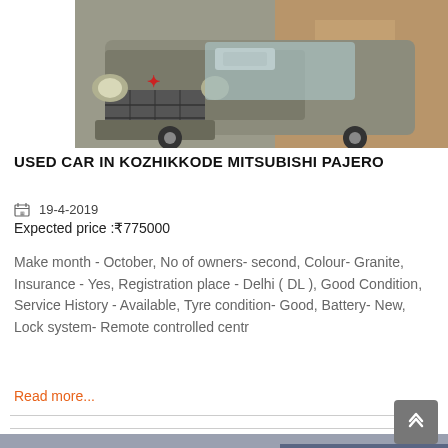[Figure (photo): Front view of a silver/grey Mitsubishi Pajero SUV parked outside a building]
USED CAR IN KOZHIKKODE MITSUBISHI PAJERO
📅 19-4-2019
Expected price :₹775000
Make month - October, No of owners- second, Colour- Granite, Insurance - Yes, Registration place - Delhi ( DL ), Good Condition, Service History - Available, Tyre condition- Good, Battery- New, Lock system- Remote controlled centr
Read more...
[Figure (photo): Side/front view of a dark-colored SUV in a parking lot with other cars and a store in the background]